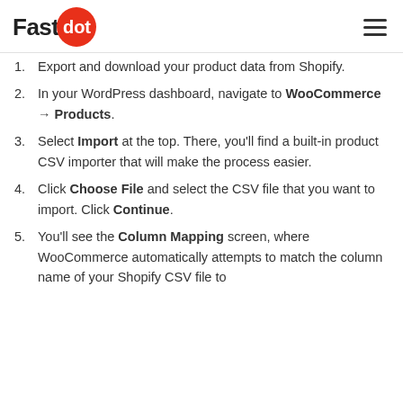Fastdot
Export and download your product data from Shopify.
In your WordPress dashboard, navigate to WooCommerce → Products.
Select Import at the top. There, you'll find a built-in product CSV importer that will make the process easier.
Click Choose File and select the CSV file that you want to import. Click Continue.
You'll see the Column Mapping screen, where WooCommerce automatically attempts to match the column name of your Shopify CSV file to